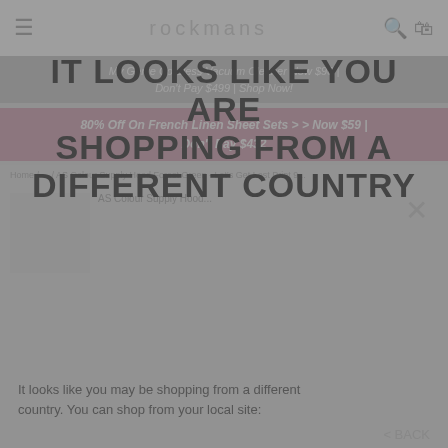rockmans
My Genie Cordless Vacuum Cleaner Now $98 | Don't Pay $499 | Shop Now!
80% Off On French Linen Sheet Sets >> Now $59 | Don't Pay $432
IT LOOKS LIKE YOU ARE SHOPPING FROM A DIFFERENT COUNTRY
It looks like you may be shopping from a different country. You can shop from your local site:
< BACK
AS Colour Supply Hood Forest Green - Let's Get Lost Print 9...
[Figure (screenshot): Rockmans Australia country option with Australian flag icon]
Rockmans Australia
[Figure (screenshot): Rockmans New Zealand country option with New Zealand flag icon]
Rockmans New Zealand